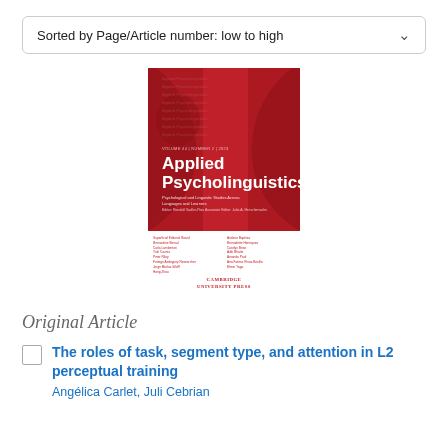Sorted by Page/Article number: low to high
[Figure (illustration): Cover of Applied Psycholinguistics journal — red background with two facing silhouettes, white bold title text 'Applied Psycholinguistics', subtitle 'Psychological and Linguistic Studies Across Languages and Learners', editorial board names listed below, Cambridge University Press logo.]
Original Article
The roles of task, segment type, and attention in L2 perceptual training
Angélica Carlet, Juli Cebrian